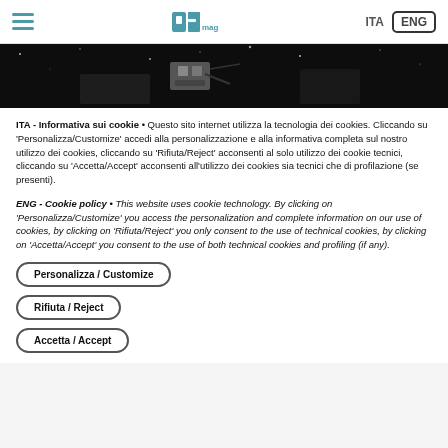ITA | ENG — pfmag logo
[Figure (photo): Dark space/night-sky background with mechanical equipment, partial image at top of page]
ITA - Informativa sui cookie • Questo sito internet utilizza la tecnologia dei cookies. Cliccando su 'Personalizza/Customize' accedi alla personalizzazione e alla informativa completa sul nostro utilizzo dei cookies, cliccando su 'Rifiuta/Reject' acconsenti al solo utilizzo dei cookie tecnici, cliccando su 'Accetta/Accept' acconsenti all'utilizzo dei cookies sia tecnici che di profilazione (se presenti).
ENG - Cookie policy • This website uses cookie technology. By clicking on 'Personalizza/Customize' you access the personalization and complete information on our use of cookies, by clicking on 'Rifiuta/Reject' you only consent to the use of technical cookies, by clicking on 'Accetta/Accept' you consent to the use of both technical cookies and profiling (if any).
Personalizza / Customize
Rifiuta / Reject
Accetta / Accept